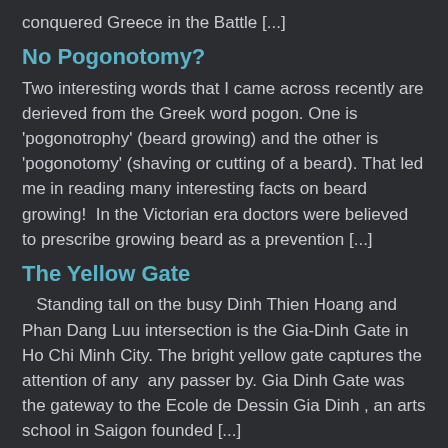conquered Greece in the Battle [...]
No Pogonotomy?
Two interesting words that I came across recently are derieved from the Greek word pogon. One is 'pogonotrophy' (beard growing) and the other is 'pogonotomy' (shaving or cutting of a beard). That led me in reading many interesting facts on beard growing!  In the Victorian era doctors were believed to prescribe growing beard as a prevention [...]
The Yellow Gate
Standing tall on the busy Dinh Thien Hoang and Phan Dang Luu intersection is the Gia-Dinh Gate in Ho Chi Minh City. The bright yellow gate captures the attention of any  any passer by. Gia Dinh Gate was the gateway to the Ecole de Dessin Gia Dinh , an arts school in Saigon founded [...]
In the Lap of Buddha
Seeking solace and comfort